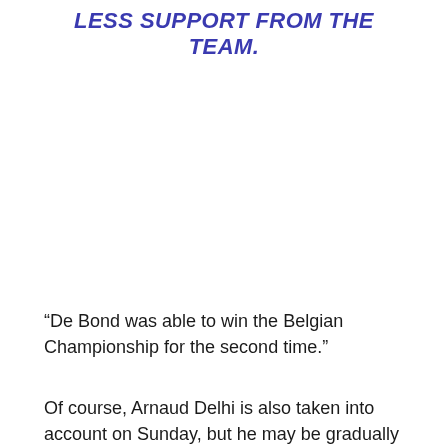LESS SUPPORT FROM THE TEAM.
“De Bond was able to win the Belgian Championship for the second time.”
Of course, Arnaud Delhi is also taken into account on Sunday, but he may be gradually peaking.